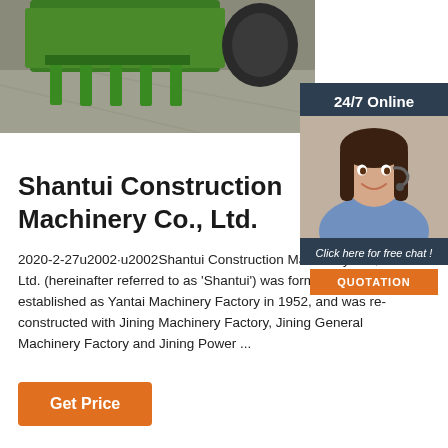[Figure (photo): Photo of green construction/agricultural machinery attachment (tractor implement) on a concrete surface, viewed from behind/side angle.]
[Figure (photo): 24/7 Online customer service panel showing a smiling woman with headset, dark background with 'Click here for free chat!' text and an orange QUOTATION button.]
Shantui Construction Machinery Co., Ltd.
2020-2-27u2002·u2002Shantui Construction Machinery Co., Ltd. (hereinafter referred to as 'Shantui') was formerly established as Yantai Machinery Factory in 1952, and was re-constructed with Jining Machinery Factory, Jining General Machinery Factory and Jining Power ...
Get Price